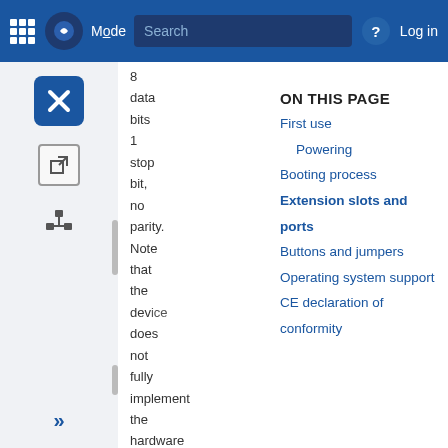Mode Search | Log in
8
data
bits
1
stop
bit,
no
parity.
Note
that
the
device
does
not
fully
implement
the
hardware
(RTS/CTS)
flow
ON THIS PAGE
First use
Powering
Booting process
Extension slots and ports
Buttons and jumpers
Operating system support
CE declaration of conformity